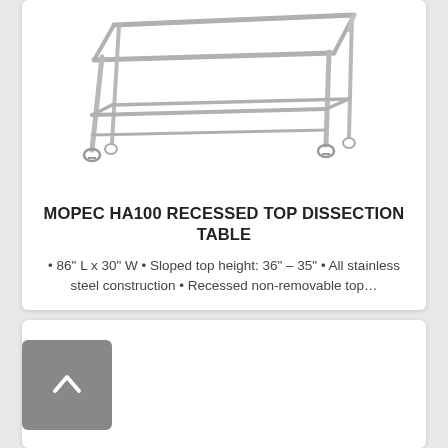[Figure (photo): Stainless steel dissection table with wheels/casters, showing the frame and lower shelf structure, photographed from a slight angle above.]
MOPEC HA100 RECESSED TOP DISSECTION TABLE
• 86" L x 30" W • Sloped top height: 36" – 35" • All stainless steel construction • Recessed non-removable top…